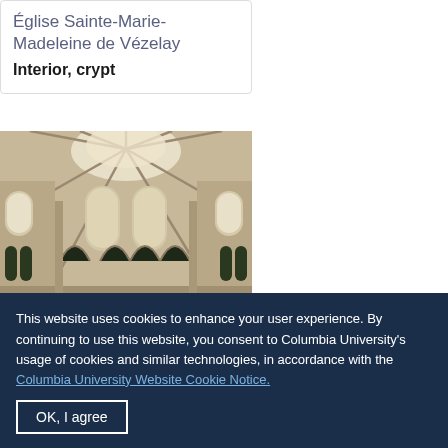Église Sainte-Marie-Madeleine de Vézelay
Interior, crypt
[Figure (photo): Looking up at the interior vaulted ceiling and arched windows of the Église Sainte-Marie-Madeleine de Vézelay, showing Romanesque/Gothic stone columns, arches, and clerestory windows with natural light.]
This website uses cookies to enhance your user experience. By continuing to use this website, you consent to Columbia University's usage of cookies and similar technologies, in accordance with the Columbia University Website Cookie Notice.
OK, I agree